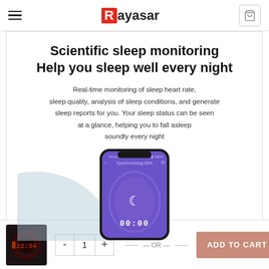Rayasar
Scientific sleep monitoring Help you sleep well every night
Real-time monitoring of sleep heart rate, sleep quality, analysis of sleep conditions, and generate sleep reports for you. Your sleep status can be seen at a glance, helping you to fall asleep soundly every night
[Figure (screenshot): Smartphone displaying a sleep monitoring app with purple background, moon icon, synchronizing 28% text, and 00:00 timer]
[Figure (photo): Thumbnail image of a smartwatch with red display]
- 1 + — OR — ADD TO CART